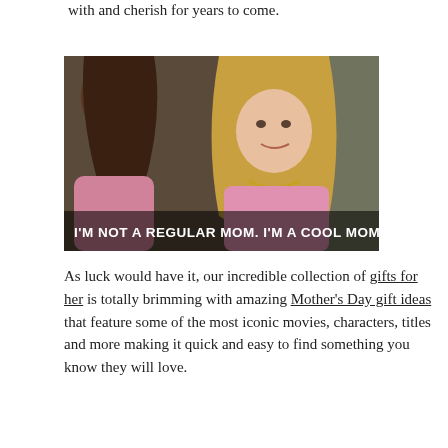with and cherish for years to come.
[Figure (photo): Movie still from Mean Girls showing two women, one brunette seen from behind and one blonde woman in a pink top facing the camera with a smirk. White subtitle text reads: I'M NOT A REGULAR MOM. I'M A COOL MOM.]
As luck would have it, our incredible collection of gifts for her is totally brimming with amazing Mother's Day gift ideas that feature some of the most iconic movies, characters, titles and more making it quick and easy to find something you know they will love.